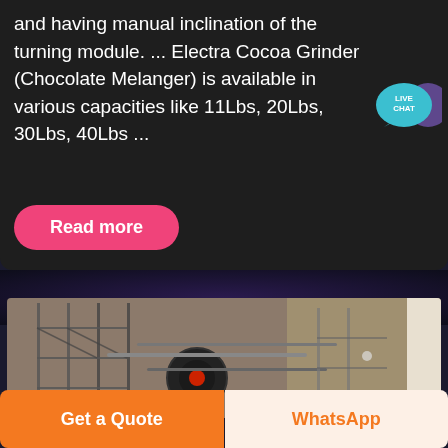and having manual inclination of the turning module. ... Electra Cocoa Grinder (Chocolate Melanger) is available in various capacities like 11Lbs, 20Lbs, 30Lbs, 40Lbs ...
[Figure (illustration): Live Chat speech bubble icon in teal/cyan color with text LIVE CHAT]
Read more
[Figure (photo): Industrial machine equipment outdoors with scaffolding structure, metal framework and wheels visible against a rocky/earthy background]
Get a Quote
WhatsApp